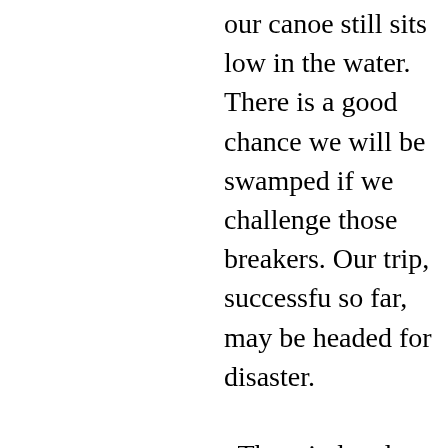our canoe still sits low in the water. There is a good chance we will be swamped if we challenge those breakers. Our trip, successful so far, may be headed for disaster. The wind and waves are finally at our back, ironically in these conditions I would rather paddle into them. Propelled from behind, it's harder to keep the canoe on track, pointed where we need to go. We never have the option of retreating back to camp. The wind is so strong and the waves so high we are committed once we enter the bay. To try and turn the canoe broadside in order to retreat definitely would swamp us. A particularly big waves crashes into us, pouring several gallons of water into the boat. This one could do it for us. Assuming anything floats--the sleeping bags may, the heavy tent and food and water will not--the wind and waves